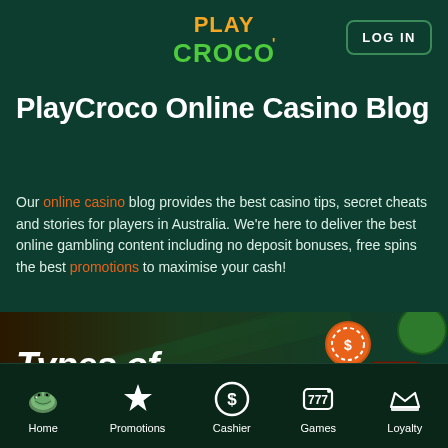[Figure (logo): PlayCroco casino logo with colorful stylized text in green and orange, crocodile motif]
LOG IN
PlayCroco Online Casino Blog
Our online casino blog provides the best casino tips, secret cheats and stories for players in Australia. We're here to deliver the best online gambling content including no deposit bonuses, free spins the best promotions to maximise your cash!
[Figure (illustration): Types of - card strip banner with casino chip, slot machine character, and pokies sign icons]
Home  Promotions  Cashier  Games  Loyalty